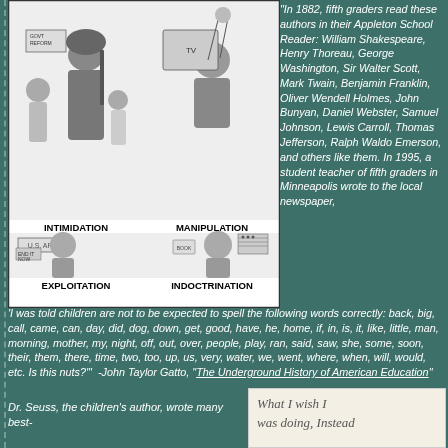[Figure (illustration): Black and white cartoon illustration divided into four quadrants showing figures labeled INTIMIDATION (top-left), MANIPULATION (top-right), EXPLOITATION (bottom-left), INDOCTRINATION (bottom-right). Each quadrant depicts scenes related to its label involving people.]
“In 1882, fifth graders read these authors in their Appleton School Reader: William Shakespeare, Henry Thoreau, George Washington, Sir Walter Scott, Mark Twain, Benjamin Franklin, Oliver Wendell Holmes, John Bunyan, Daniel Webster, Samuel Johnson, Lewis Carroll, Thomas Jefferson, Ralph Waldo Emerson, and others like them. In 1995, a student teacher of fifth graders in Minneapolis wrote to the local newspaper, ‘I was told children are not to be expected to spell the following words correctly: back, big, call, came, can, day, did, dog, down, get, good, have, he, home, if, in, is, it, like, little, man, morning, mother, my, night, off, out, over, people, play, ran, said, saw, she, some, soon, their, them, there, time, two, too, up, us, very, water, we, went, where, when, will, would, etc. Is this nuts?’”  -John Taylor Gatto, “The Underground History of American Education”
Dr. Seuss, the children’s author, wrote many best-
[Figure (photo): Handwritten note on lined paper reading: What I wish I was doing, Instead]